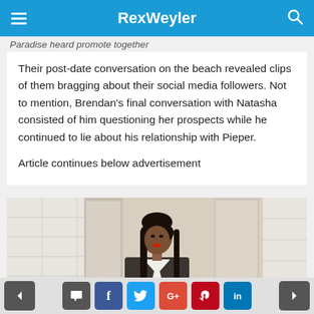RexWeyler
Paradise heard promote together
Their post-date conversation on the beach revealed clips of them bragging about their social media followers. Not to mention, Brendan's final conversation with Natasha consisted of him questioning her prospects while he continued to lie about his relationship with Pieper.
Article continues below advertisement
[Figure (photo): Woman with long dark hair wearing a dark blazer over a white shirt, standing indoors near white-painted brick walls and doors.]
Social share buttons: comment, facebook, twitter, google+, pinterest, linkedin